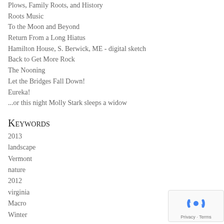Plows, Family Roots, and History
Roots Music
To the Moon and Beyond
Return From a Long Hiatus
Hamilton House, S. Berwick, ME - digital sketch
Back to Get More Rock
The Nooning
Let the Bridges Fall Down!
Eureka!
...or this night Molly Stark sleeps a widow
Keywords
2013
landscape
Vermont
nature
2012
virginia
Macro
Winter